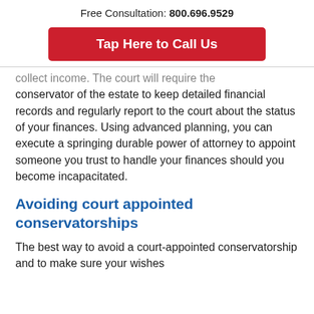Free Consultation: 800.696.9529
[Figure (other): Red call-to-action button reading 'Tap Here to Call Us']
collect income. The court will require the conservator of the estate to keep detailed financial records and regularly report to the court about the status of your finances. Using advanced planning, you can execute a springing durable power of attorney to appoint someone you trust to handle your finances should you become incapacitated.
Avoiding court appointed conservatorships
The best way to avoid a court-appointed conservatorship and to make sure your wishes